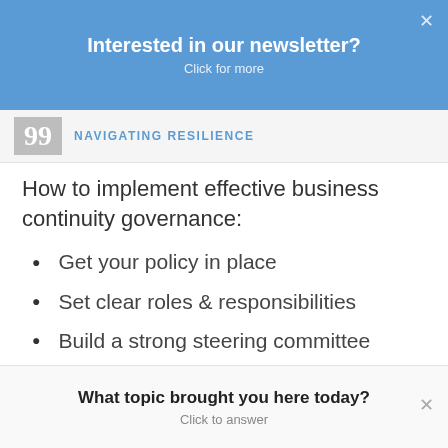Interested in our newsletter? Click for more
NAVIGATING RESILIENCE
How to implement effective business continuity governance:
Get your policy in place
Set clear roles & responsibilities
Build a strong steering committee
We've written an extensive article on business continuity governance that we think you'll find
What topic brought you here today? Click to answer